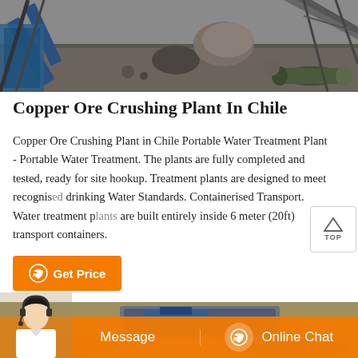[Figure (photo): Aerial/ground-level view of a copper ore crushing plant site with conveyor belts, large rocks, gravel piles and industrial equipment]
Copper Ore Crushing Plant In Chile
Copper Ore Crushing Plant in Chile Portable Water Treatment Plant - Portable Water Treatment. The plants are fully completed and tested, ready for site hookup. Treatment plants are designed to meet recognised drinking Water Standards. Containerised Transport. Water treatment plants are built entirely inside 6 meter (20ft) transport containers.
[Figure (photo): Aerial view of mining/crushing plant operation site with blue industrial equipment and rocky terrain]
[Figure (screenshot): Orange bottom bar with Message and Online Chat buttons, and a customer service agent photo overlay]